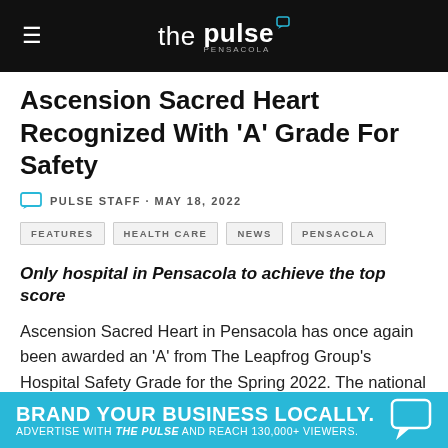the pulse pensacola
Ascension Sacred Heart Recognized With 'A' Grade For Safety
PULSE STAFF · MAY 18, 2022
FEATURES
HEALTH CARE
NEWS
PENSACOLA
Only hospital in Pensacola to achieve the top score
Ascension Sacred Heart in Pensacola has once again been awarded an 'A' from The Leapfrog Group's Hospital Safety Grade for the Spring 2022. The national designation recognizes the hospital's efforts in protecting patients from harm and meeting the highest safety standards.
BRAND YOUR BUSINESS LOCALLY. ADVERTISE WITH THE PULSE AND REACH 130,000+ VIEWERS.